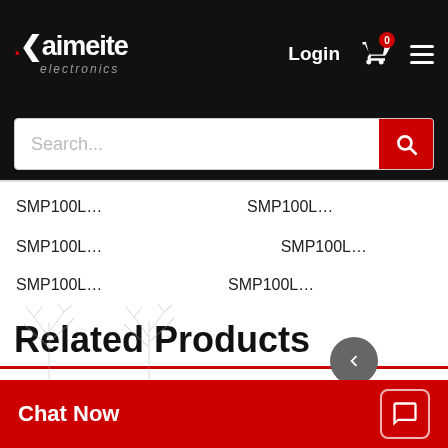[Figure (screenshot): Kaimeite electronics website header with logo, login, cart icon showing 0, and hamburger menu on black background]
[Figure (screenshot): Search bar with placeholder text 'Search...' and red search button]
SMP100L…   SMP100L…   SMP100L…   SMP100L…
SMP100L…   SMP100L…   SMP100L…   SMP1…
SMP100L…   SMP100L…
Related Products
[Figure (screenshot): Right sidebar with Skype, phone, call, and email icons on dark background]
[Figure (screenshot): Chat Now bar at bottom with red background and chat icon]
[Figure (illustration): Product thumbnail images at bottom of page]